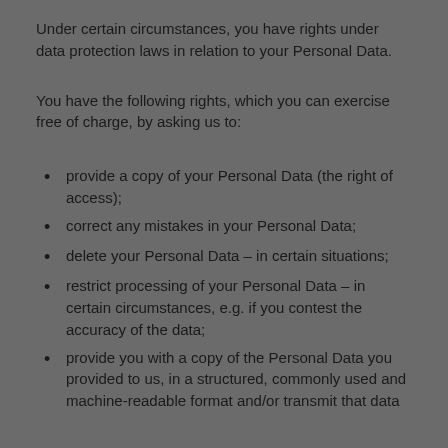Under certain circumstances, you have rights under data protection laws in relation to your Personal Data.
You have the following rights, which you can exercise free of charge, by asking us to:
provide a copy of your Personal Data (the right of access);
correct any mistakes in your Personal Data;
delete your Personal Data – in certain situations;
restrict processing of your Personal Data – in certain circumstances, e.g. if you contest the accuracy of the data;
provide you with a copy of the Personal Data you provided to us, in a structured, commonly used and machine-readable format and/or transmit that data